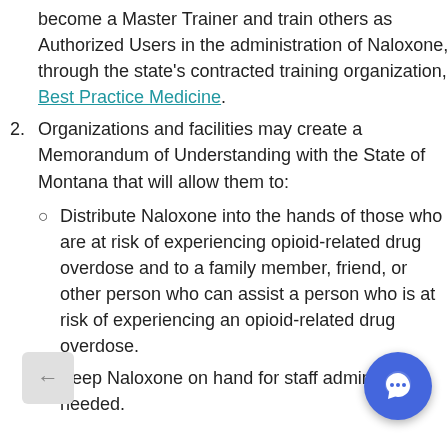become a Master Trainer and train others as Authorized Users in the administration of Naloxone, through the state's contracted training organization, Best Practice Medicine.
2. Organizations and facilities may create a Memorandum of Understanding with the State of Montana that will allow them to:
Distribute Naloxone into the hands of those who are at risk of experiencing opioid-related drug overdose and to a family member, friend, or other person who can assist a person who is at risk of experiencing an opioid-related drug overdose.
Keep Naloxone on hand for staff administer as needed.